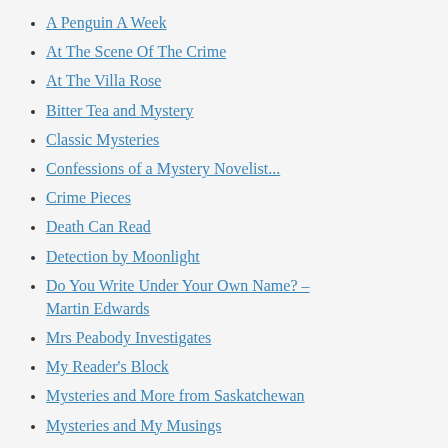A Penguin A Week
At The Scene Of The Crime
At The Villa Rose
Bitter Tea and Mystery
Classic Mysteries
Confessions of a Mystery Novelist...
Crime Pieces
Death Can Read
Detection by Moonlight
Do You Write Under Your Own Name? – Martin Edwards
Mrs Peabody Investigates
My Reader's Block
Mysteries and More from Saskatchewan
Mysteries and My Musings
Mystery File
Novel Heights